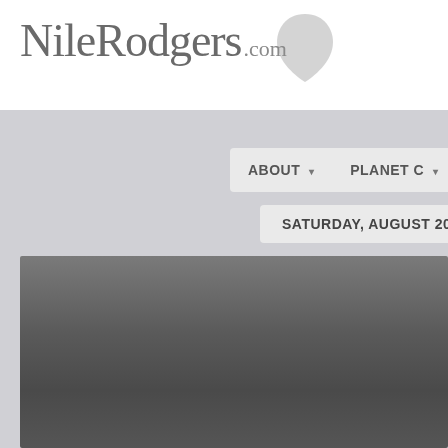NileRodgers.com
ABOUT ▾   PLANET C ▾   EVENTS / TO
SATURDAY, AUGUST 20, 2022
[Figure (photo): Dark gray gradient image area, lower portion of the page, likely a photo or banner image that is not fully loaded or is a placeholder background.]